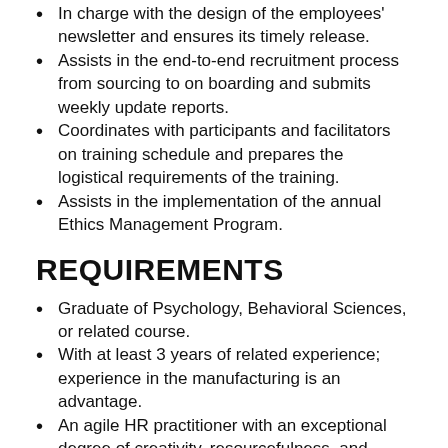In charge with the design of the employees' newsletter and ensures its timely release.
Assists in the end-to-end recruitment process from sourcing to on boarding and submits weekly update reports.
Coordinates with participants and facilitators on training schedule and prepares the logistical requirements of the training.
Assists in the implementation of the annual Ethics Management Program.
REQUIREMENTS
Graduate of Psychology, Behavioral Sciences, or related course.
With at least 3 years of related experience; experience in the manufacturing is an advantage.
An agile HR practitioner with an exceptional degree of creativity, resourcefulness, and analytical skills.
Results-driven with the ability to thrive in a fast...